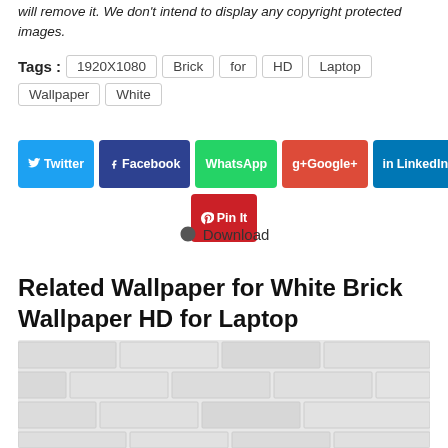will remove it. We don't intend to display any copyright protected images.
Tags : 1920X1080 Brick for HD Laptop Wallpaper White
[Figure (other): Social sharing buttons: Twitter, Facebook, WhatsApp, Google+, LinkedIn, Pin It]
Download
Related Wallpaper for White Brick Wallpaper HD for Laptop
[Figure (photo): White brick wall texture photograph]